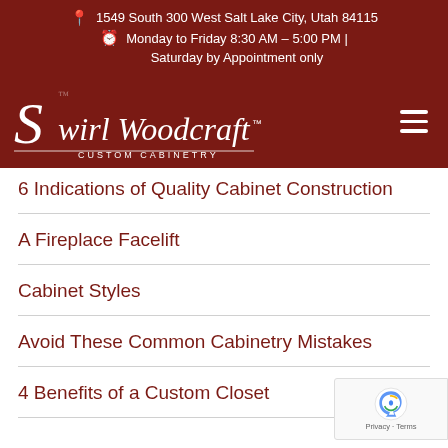1549 South 300 West Salt Lake City, Utah 84115 | Monday to Friday 8:30 AM - 5:00 PM | Saturday by Appointment only
[Figure (logo): Swirl Woodcraft Custom Cabinetry logo in white on dark red background with hamburger menu icon]
6 Indications of Quality Cabinet Construction
A Fireplace Facelift
Cabinet Styles
Avoid These Common Cabinetry Mistakes
4 Benefits of a Custom Closet